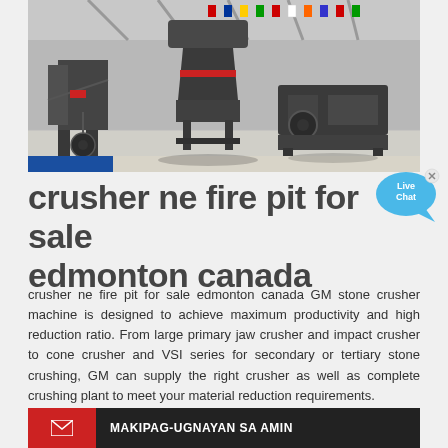[Figure (photo): Industrial stone crusher machines displayed in a large exhibition hall with international flags in the background. Multiple dark grey crushing machines are visible on a polished floor.]
crusher ne fire pit for sale edmonton canada
crusher ne fire pit for sale edmonton canada GM stone crusher machine is designed to achieve maximum productivity and high reduction ratio. From large primary jaw crusher and impact crusher to cone crusher and VSI series for secondary or tertiary stone crushing, GM can supply the right crusher as well as complete crushing plant to meet your material reduction requirements.
MAKIPAG-UGNAYAN SA AMIN